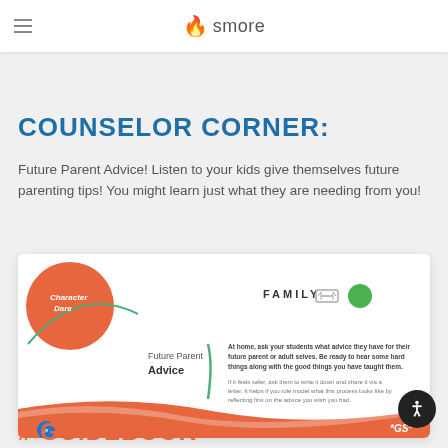smore
COUNSELOR CORNER:
Future Parent Advice! Listen to your kids give themselves future parenting tips! You might learn just what they are needing from you!
[Figure (screenshot): Character Dare activity card titled 'Future Parent Advice' with FAMILY tag, showing instructions for asking students what advice they have for their future parent or adult selves.]
# GUIDEBOOK